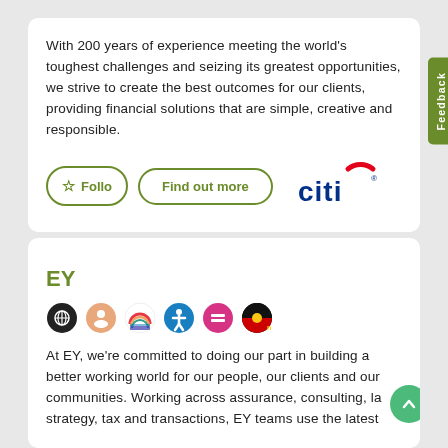With 200 years of experience meeting the world's toughest challenges and seizing its greatest opportunities, we strive to create the best outcomes for our clients, providing financial solutions that are simple, creative and responsible.
[Figure (logo): Citi bank logo with red arc over 'citi' text in dark blue]
EY
[Figure (infographic): Row of six diversity and inclusion icon badges: global/network icon, people icon, rainbow pride flag, accessibility/wheelchair icon, equal sign, and Aboriginal flag icon]
At EY, we're committed to doing our part in building a better working world for our people, our clients and our communities. Working across assurance, consulting, law, strategy, tax and transactions, EY teams use the latest